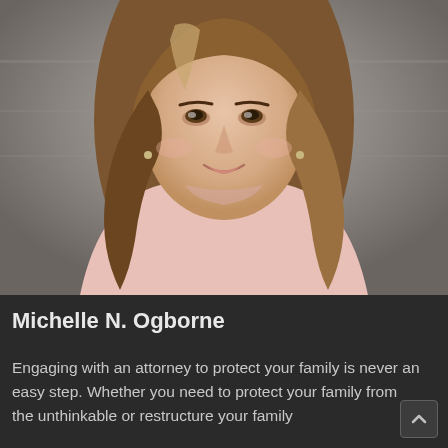[Figure (photo): Professional headshot of Michelle N. Ogborne, a woman with long brown hair with highlights, wearing a light pink blouse, smiling, against a blurred grey stone background.]
Michelle N. Ogborne
Engaging with an attorney to protect your family is never an easy step. Whether you need to protect your family from the unthinkable or restructure your family